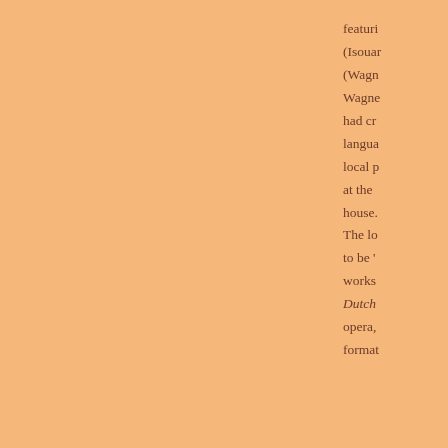featuring (Isouard (Wagner Wagner had cr language local p at the house. The lo to be ' works Dutchman opera, format